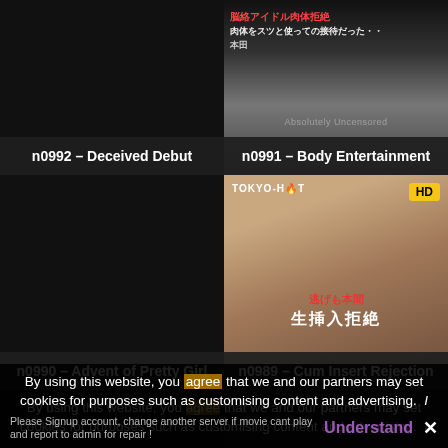[Figure (screenshot): Dark card for n0992 - Deceived Debut, no image visible]
n0992 – Deceived Debut
[Figure (screenshot): n0991 - Body Entertainment thumbnail with Japanese text overlay]
n0991 – Body Entertainment
[Figure (screenshot): Dark card for n0990 - Advent of Pretty Girl, no image visible]
n0990 – Advent of Pretty Girl
[Figure (screenshot): n0989 - Cum Insert Rejection, HD badge, Tokyo Hot branding, woman with brown hair]
n0989 – Cum Insert Rejection
By using this website, you agree that we and our partners may set cookies for purposes such as customising content and advertising.   I
Please Signup account, change another server if movie cant play and report to admin for repair !
Understand